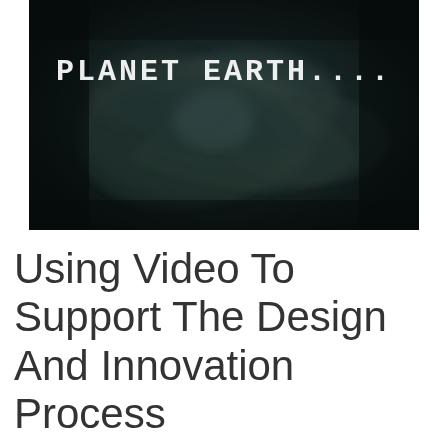[Figure (screenshot): A dark, atmospheric video still showing swirling cloud or smoke patterns in dark blue-green tones, with the text 'PLANET EARTH....' displayed in white blocky letters in the upper-center area of the image.]
Using Video To Support The Design And Innovation Process